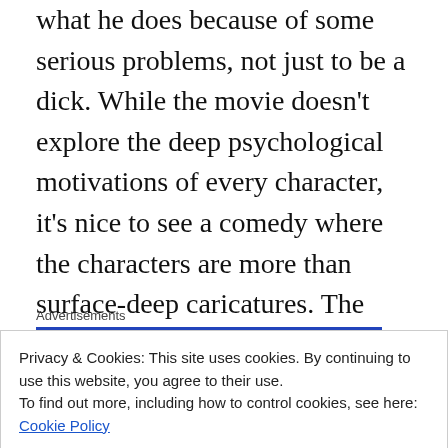what he does because of some serious problems, not just to be a dick. While the movie doesn't explore the deep psychological motivations of every character, it's nice to see a comedy where the characters are more than surface-deep caricatures. The laughs in Cyrus come hand-in-hand with cringes and if you don't like uncomfortable situations in your comedy you should probably steer clear of this one, but I enjoyed this weird little movie.
Advertisements
[Figure (other): Pressable logo icon with text 'Pressable']
Privacy & Cookies: This site uses cookies. By continuing to use this website, you agree to their use. To find out more, including how to control cookies, see here: Cookie Policy
Close and accept
works Best